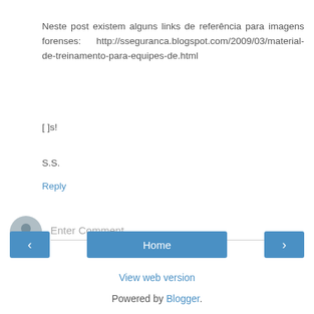Neste post existem alguns links de referência para imagens forenses: http://sseguranca.blogspot.com/2009/03/material-de-treinamento-para-equipes-de.html
[ ]s!
S.S.
Reply
[Figure (illustration): Comment input area with user avatar icon and 'Enter Comment' placeholder text]
[Figure (infographic): Navigation bar with left arrow button, Home button, and right arrow button]
View web version
Powered by Blogger.